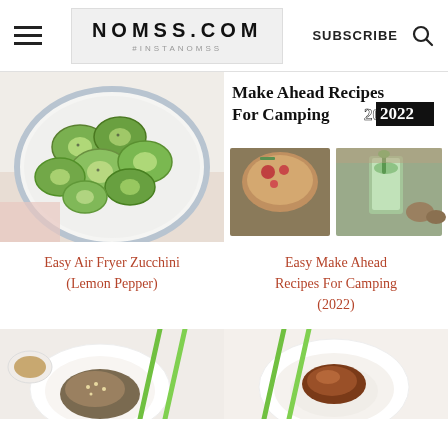NOMSS.COM #INSTANOMSS | SUBSCRIBE
[Figure (photo): Bowl of air fryer zucchini pieces with lemon pepper seasoning on a white and blue plate]
[Figure (photo): Make Ahead Recipes For Camping 2022 - collage with soup and green drink photos]
Easy Air Fryer Zucchini (Lemon Pepper)
Easy Make Ahead Recipes For Camping (2022)
[Figure (photo): Plate with food and green chopsticks - left card bottom row]
[Figure (photo): Bowl of food with rice and green chopsticks - right card bottom row]